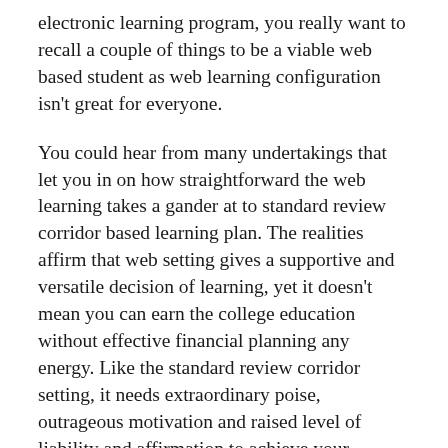electronic learning program, you really want to recall a couple of things to be a viable web based student as web learning configuration isn't great for everyone.
You could hear from many undertakings that let you in on how straightforward the web learning takes a gander at to standard review corridor based learning plan. The realities affirm that web setting gives a supportive and versatile decision of learning, yet it doesn't mean you can earn the college education without effective financial planning any energy. Like the standard review corridor setting, it needs extraordinary poise, outrageous motivation and raised level of liability and affirmation to achieve your educational goals. While fast track degree programs offer you chances to accelerate your occupation with a field related preparing capacity, you want to manage your time truly between home life, calling and concentrate to successfully complete the program.